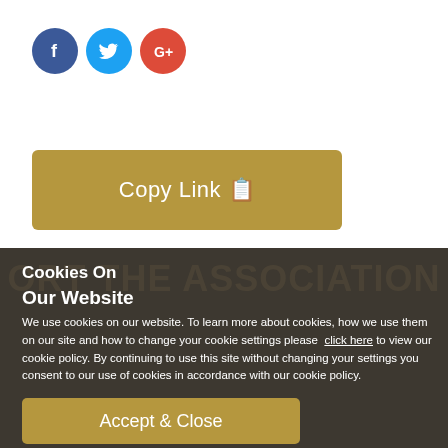[Figure (illustration): Three social media icon buttons: Facebook (blue circle with 'f'), Twitter (light blue circle with bird icon), Google+ (red circle with 'G+')]
[Figure (illustration): Golden/dark yellow 'Copy Link' button with a clipboard icon]
Cookies On Our Website
We use cookies on our website. To learn more about cookies, how we use them on our site and how to change your cookie settings please click here to view our cookie policy. By continuing to use this site without changing your settings you consent to our use of cookies in accordance with our cookie policy.
[Figure (illustration): Golden 'Accept & Close' button]